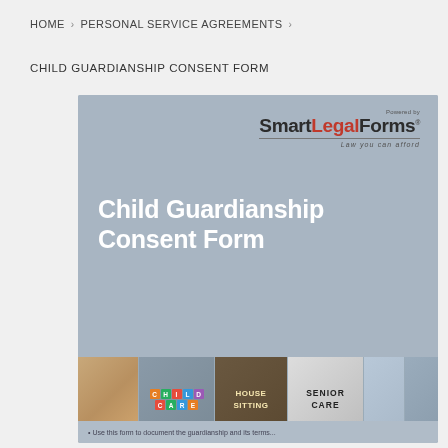HOME › PERSONAL SERVICE AGREEMENTS ›
CHILD GUARDIANSHIP CONSENT FORM
[Figure (illustration): SmartLegalForms branded cover image for Child Guardianship Consent Form. Shows logo at top right with tagline 'Law you can afford'. Large white bold text reads 'Child Guardianship Consent Form' on a blue-gray background. Below is a photo strip showing child care, blocks spelling CHILDCARE, house sitting sign, senior care sign, and caregiving scenes.]